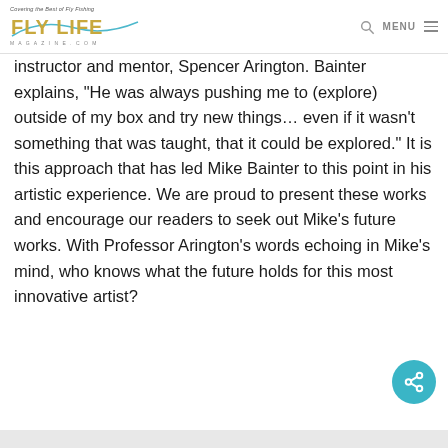Covering the Best of Fly Fishing — FLY LIFE MAGAZINE.COM
instructor and mentor, Spencer Arington. Bainter explains, “He was always pushing me to (explore) outside of my box and try new things… even if it wasn’t something that was taught, that it could be explored.” It is this approach that has led Mike Bainter to this point in his artistic experience. We are proud to present these works and encourage our readers to seek out Mike’s future works. With Professor Arington’s words echoing in Mike’s mind, who knows what the future holds for this most innovative artist?